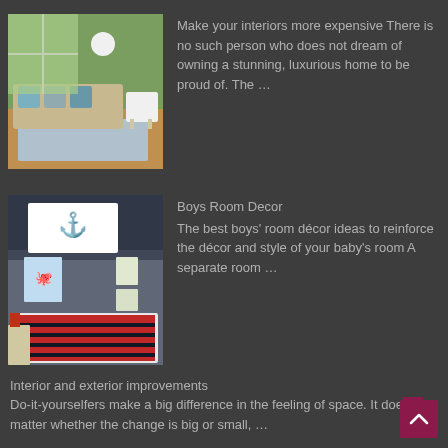[Figure (photo): Living room interior with sofa, cushions, white chair, wooden floor, and large window with green view outside]
Make your interiors more expensive There is no such person who does not dream of owning a stunning, luxurious home to be proud of. The …
[Figure (photo): Boys bedroom with anchor wall art, octopus poster, red and navy plaid bedding, white bed frame, and nautical decor]
Boys Room Decor The best boys' room décor ideas to reinforce the décor and style of your baby's room A separate room …
Interior and exterior improvements
Do-it-yourselfers make a big difference in the feeling of space. It doesn't matter whether the change is big or small, …